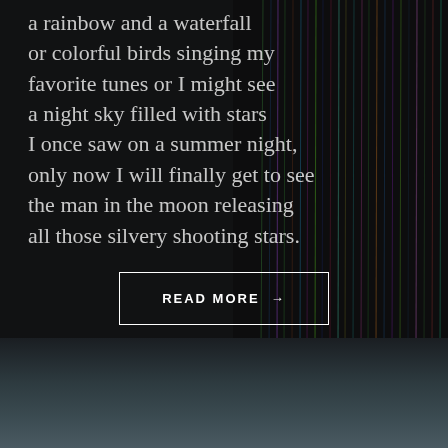a rainbow and a waterfall or colorful birds singing my favorite tunes or I might see a night sky filled with stars I once saw on a summer night, only now I will finally get to see the man in the moon releasing all those silvery shooting stars.
READ MORE →
[Figure (photo): Dark background with colorful vertical light streaks (like fiber optic or long-exposure light trails) in green, blue, purple, and other colors on the right side of the image. Bottom section transitions to a dark teal/grey gradient.]